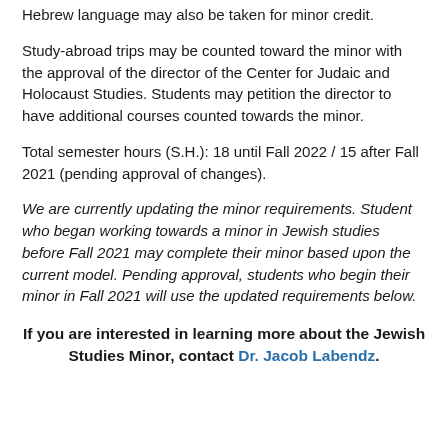Hebrew language may also be taken for minor credit.
Study-abroad trips may be counted toward the minor with the approval of the director of the Center for Judaic and Holocaust Studies. Students may petition the director to have additional courses counted towards the minor.
Total semester hours (S.H.): 18 until Fall 2022 / 15 after Fall 2021 (pending approval of changes).
We are currently updating the minor requirements. Student who began working towards a minor in Jewish studies before Fall 2021 may complete their minor based upon the current model. Pending approval, students who begin their minor in Fall 2021 will use the updated requirements below.
If you are interested in learning more about the Jewish Studies Minor, contact Dr. Jacob Labendz.